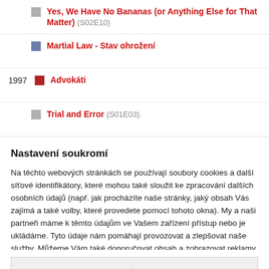Yes, We Have No Bananas (or Anything Else for That Matter) (S02E10)
Martial Law - Stav ohrožení
1997  Advokáti
Trial and Error (S01E03)
Nastavení soukromí
Na těchto webových stránkách se používají soubory cookies a další síťové identifikátory, které mohou také sloužit ke zpracování dalších osobních údajů (např. jak procházíte naše stránky, jaký obsah Vás zajímá a také volby, které provedete pomocí tohoto okna). My a naši partneři máme k těmto údajům ve Vašem zařízení přístup nebo je ukládáme. Tyto údaje nám pomáhají provozovat a zlepšovat naše služby. Můžeme Vám také doporučovat obsah a zobrazovat reklamy na základě Vašich preferencí. Pro
PODROBNÉ NASTAVENÍ
ROZUMÍM A PŘIJÍMÁM